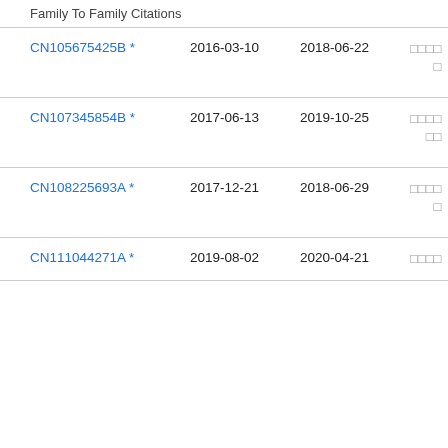Family To Family Citations
| Publication | Filing Date | Publication Date | Assignee |
| --- | --- | --- | --- |
| CN105675425B * | 2016-03-10 | 2018-06-22 | □□□□□ |
| CN107345854B * | 2017-06-13 | 2019-10-25 | □□□□□□ |
| CN108225693A * | 2017-12-21 | 2018-06-29 | □□□□□ |
| CN111044271A * | 2019-08-02 | 2020-04-21 | □□□□ |